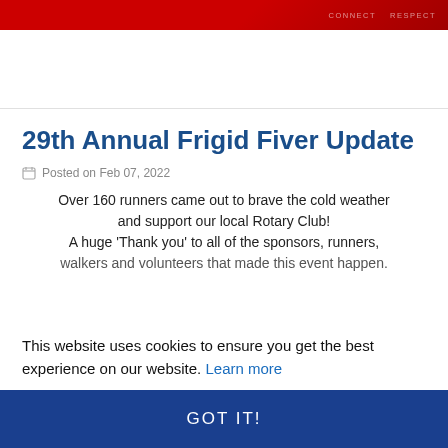CONNECT RESPECT
29th Annual Frigid Fiver Update
Posted on Feb 07, 2022
Over 160 runners came out to brave the cold weather and support our local Rotary Club!
A huge 'Thank you' to all of the sponsors, runners, walkers and volunteers that made this event happen.
This website uses cookies to ensure you get the best experience on our website. Learn more
GOT IT!